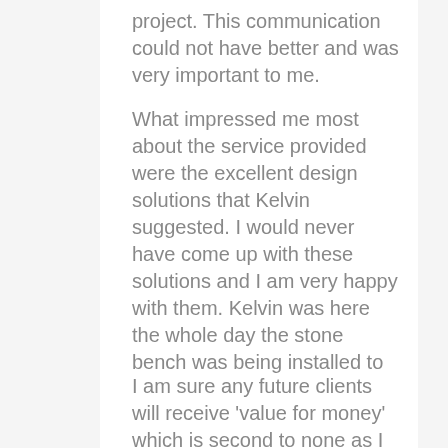project. This communication could not have better and was very important to me.
What impressed me most about the service provided were the excellent design solutions that Kelvin suggested. I would never have come up with these solutions and I am very happy with them. Kelvin was here the whole day the stone bench was being installed to ensure all went smoothly. Since the project has been completed Kelvin has rang to make sure I am happy with the kitchen and he intends to call to check for any final tweaks.
I am sure any future clients will receive 'value for money' which is second to none as I believe I have.